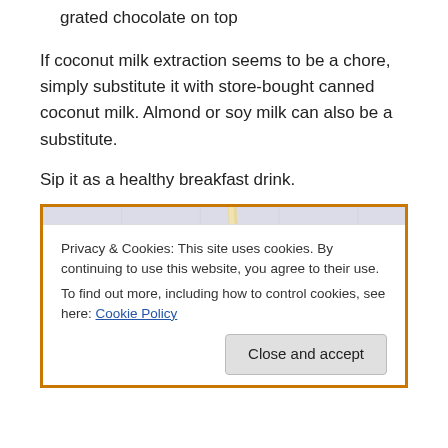grated chocolate on top
If coconut milk extraction seems to be a chore, simply substitute it with store-bought canned coconut milk. Almond or soy milk can also be a substitute.
Sip it as a healthy breakfast drink.
[Figure (photo): Top-down view of a glass drink with grated chocolate on top and a straw, with an orange border, partially obscured by a cookie consent banner]
Privacy & Cookies: This site uses cookies. By continuing to use this website, you agree to their use.
To find out more, including how to control cookies, see here: Cookie Policy